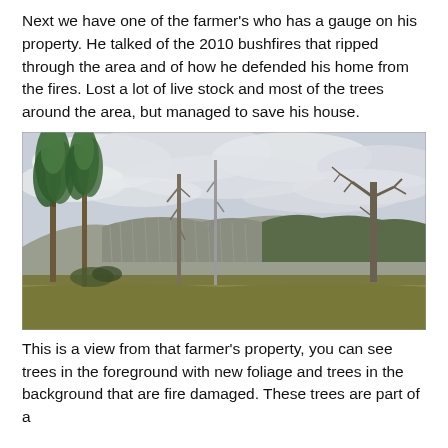Next we have one of the farmer's who has a gauge on his property. He talked of the 2010 bushfires that ripped through the area and of how he defended his home from the fires. Lost a lot of live stock and most of the trees around the area, but managed to save his house.
[Figure (photo): Landscape photo showing a field with trees — some green with new foliage on the left, tall dead/bare trees in the centre and right, and a hillside covered with fire-damaged grey dead trees in the background under a cloudy overcast sky.]
This is a view from that farmer's property, you can see trees in the foreground with new foliage and trees in the background that are fire damaged. These trees are part of a